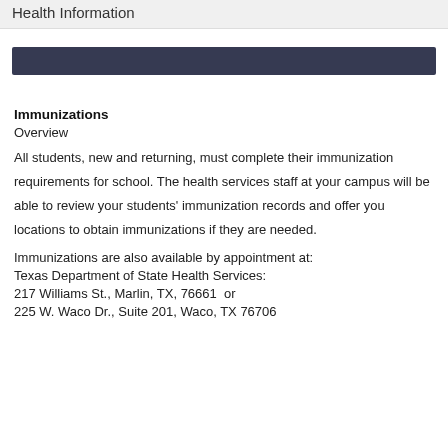Health Information
[Figure (other): Dark navy horizontal decorative bar]
Immunizations
Overview
All students, new and returning, must complete their immunization requirements for school. The health services staff at your campus will be able to review your students' immunization records and offer you locations to obtain immunizations if they are needed.
Immunizations are also available by appointment at:
Texas Department of State Health Services:
217 Williams St., Marlin, TX, 76661  or
225 W. Waco Dr., Suite 201, Waco, TX 76706